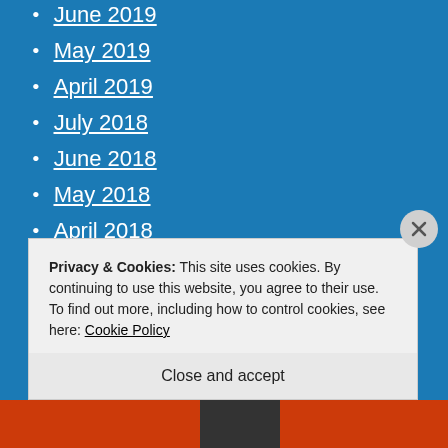June 2019
May 2019
April 2019
July 2018
June 2018
May 2018
April 2018
March 2018
February 2018
January 2018
October 2017
Privacy & Cookies: This site uses cookies. By continuing to use this website, you agree to their use. To find out more, including how to control cookies, see here: Cookie Policy
Close and accept